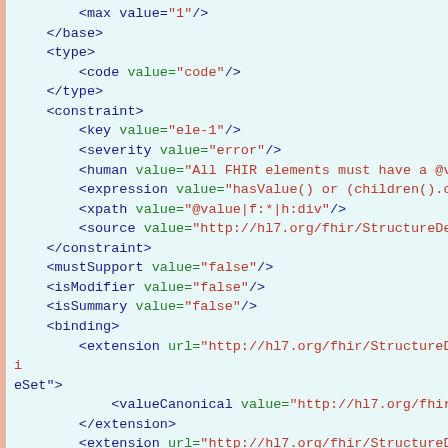FHIR StructureDefinition XML code snippet showing base, type, constraint, mustSupport, isModifier, isSummary, and binding elements